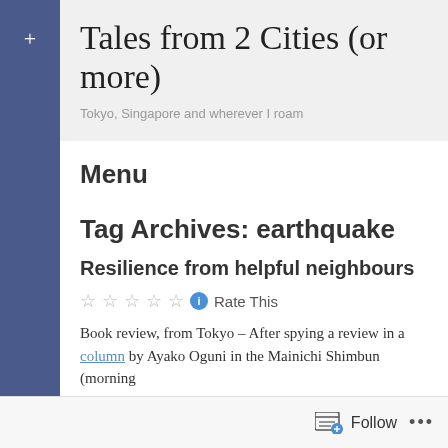Tales from 2 Cities (or more)
Tokyo, Singapore and wherever I roam
Menu
Tag Archives: earthquake
Resilience from helpful neighbours
☆☆☆☆☆ ℹ Rate This
Book review, from Tokyo – After spying a review in a column by Ayako Oguni in the Mainichi Shimbun (morning
Follow ...